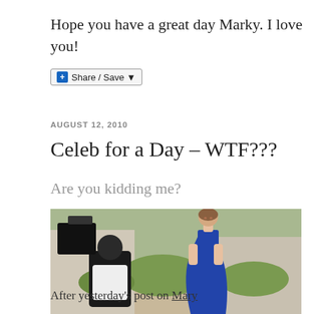Hope you have a great day Marky. I love you!
[Figure (screenshot): Share / Save button widget with blue plus icon]
AUGUST 12, 2010
Celeb for a Day – WTF???
Are you kidding me?
[Figure (photo): A woman in a blue evening gown being photographed by a photographer with a large camera, outdoors with greenery in the background]
After yesterday's post on Mary